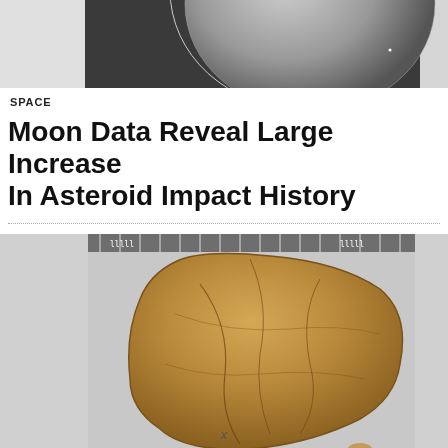[Figure (photo): Partial view of the Moon against a dark sky background]
SPACE
Moon Data Reveal Large Increase In Asteroid Impact History
[Figure (photo): A brown/tan meteorite specimen photographed against a ruler scale, showing a cracked, rounded triangular rock]
SPACE
Meteorites Reveal Evidence of Moon-Forming Impact